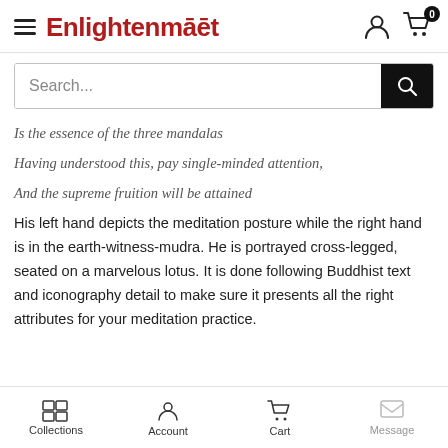Enlightenment
Is the essence of the three mandalas
Having understood this, pay single-minded attention,
And the supreme fruition will be attained
His left hand depicts the meditation posture while the right hand is in the earth-witness-mudra. He is portrayed cross-legged, seated on a marvelous lotus. It is done following Buddhist text and iconography detail to make sure it presents all the right attributes for your meditation practice.
Collections  Account  Cart  Message